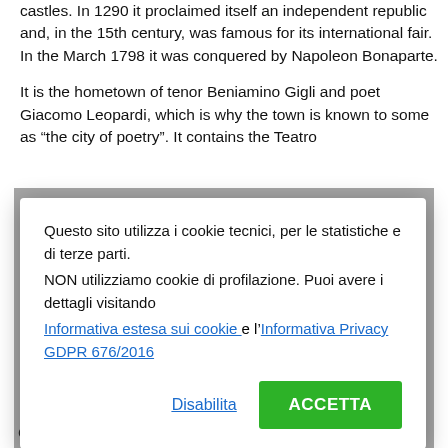castles. In 1290 it proclaimed itself an independent republic and, in the 15th century, was famous for its international fair. In the March 1798 it was conquered by Napoleon Bonaparte.
It is the hometown of tenor Beniamino Gigli and poet Giacomo Leopardi, which is why the town is known to some as “the city of poetry”. It contains the Teatro
Questo sito utilizza i cookie tecnici, per le statistiche e di terze parti.
NON utilizziamo cookie di profilazione. Puoi avere i dettagli visitando
Informativa estesa sui cookie e l’Informativa Privacy GDPR 676/2016
Disabilita
ACCETTA
Church and cloister of Sant'Agostino (13th century).